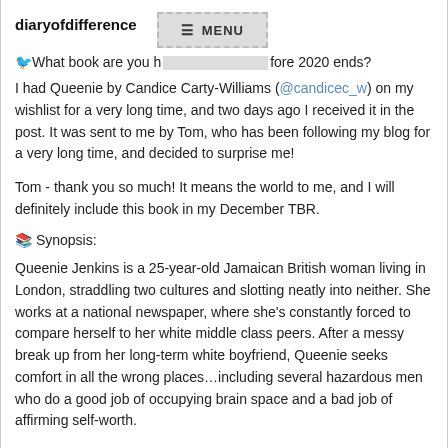diaryofdifference  ≡ MENU
🐦What book are you hoping to read before 2020 ends?
I had Queenie by Candice Carty-Williams (@candicec_w) on my wishlist for a very long time, and two days ago I received it in the post. It was sent to me by Tom, who has been following my blog for a very long time, and decided to surprise me!
Tom - thank you so much! It means the world to me, and I will definitely include this book in my December TBR.
📚 Synopsis:
Queenie Jenkins is a 25-year-old Jamaican British woman living in London, straddling two cultures and slotting neatly into neither. She works at a national newspaper, where she's constantly forced to compare herself to her white middle class peers. After a messy break up from her long-term white boyfriend, Queenie seeks comfort in all the wrong places…including several hazardous men who do a good job of occupying brain space and a bad job of affirming self-worth.